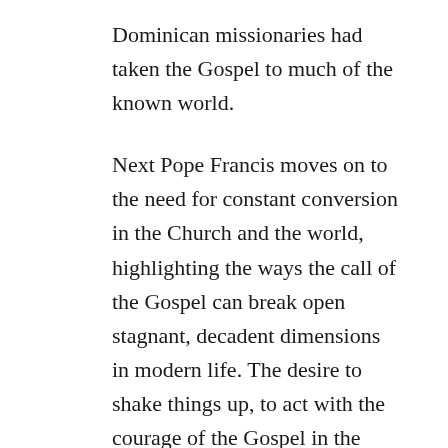Dominican missionaries had taken the Gospel to much of the known world.
Next Pope Francis moves on to the need for constant conversion in the Church and the world, highlighting the ways the call of the Gospel can break open stagnant, decadent dimensions in modern life. The desire to shake things up, to act with the courage of the Gospel in the face of contemporary challenges, was a permanent mark of St. Dominic's life. When other religious groups were still dipping their toes in the murky waters of urban living, St. Dominic plunged in headfirst, sending his friars to cities and universities all over Europe. Knowing that cities were where souls were being won or lost for Christ, he trusted the Holy Spirit to teach his Order how to live and breathe the air of